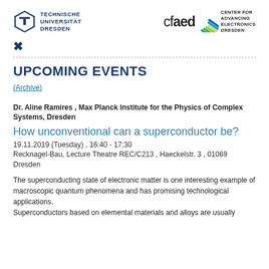[Figure (logo): Technische Universität Dresden logo with hexagonal TU symbol and text]
[Figure (logo): cfaed Center for Advancing Electronics Dresden logo with colorful arrow/fan graphic]
×
UPCOMING EVENTS
(Archive)
Dr. Aline Ramires , Max Planck Institute for the Physics of Complex Systems, Dresden
How unconventional can a superconductor be?
19.11.2019 (Tuesday) , 16:40 - 17:30
Recknagel-Bau, Lecture Theatre REC/C213 , Haeckelstr. 3 , 01069 Dresden
The superconducting state of electronic matter is one interesting example of
macroscopic quantum phenomena and has promising technological applications.
Superconductors based on elemental materials and alloys are usually